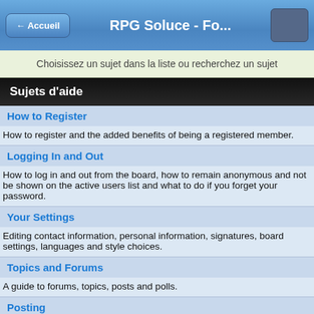← Accueil   RPG Soluce - Fo...
Choisissez un sujet dans la liste ou recherchez un sujet
Sujets d'aide
How to Register
How to register and the added benefits of being a registered member.
Logging In and Out
How to log in and out from the board, how to remain anonymous and not be shown on the active users list and what to do if you forget your password.
Your Settings
Editing contact information, personal information, signatures, board settings, languages and style choices.
Topics and Forums
A guide to forums, topics, posts and polls.
Posting
A guide to the features available when posting or sending messages. Including the post editor, polls and attachments.
Personal Messenger
How to send personal messages, track them, edit your messenger folders and archive stored messages.